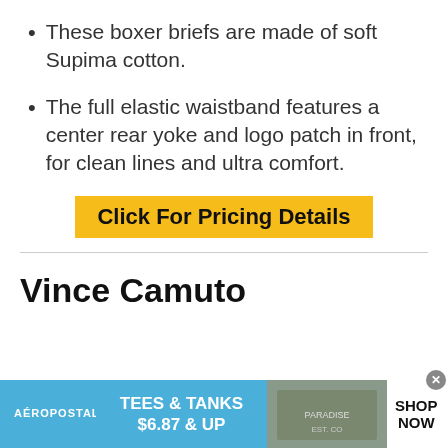These boxer briefs are made of soft Supima cotton.
The full elastic waistband features a center rear yoke and logo patch in front, for clean lines and ultra comfort.
Click For Pricing Details
Vince Camuto
[Figure (infographic): Aeropostale advertisement banner: TEES & TANKS $6.87 & UP with photo of clothing and SHOP NOW call to action]